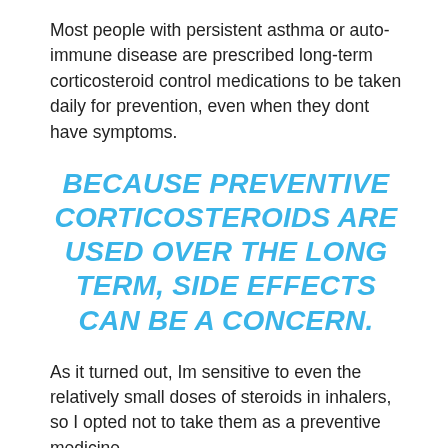Most people with persistent asthma or auto-immune disease are prescribed long-term corticosteroid control medications to be taken daily for prevention, even when they dont have symptoms.
BECAUSE PREVENTIVE CORTICOSTEROIDS ARE USED OVER THE LONG TERM, SIDE EFFECTS CAN BE A CONCERN.
As it turned out, Im sensitive to even the relatively small doses of steroids in inhalers, so I opted not to take them as a preventive medicine.
At that time, there were no other medical options for long-term treatment of asthmatic inflammation.